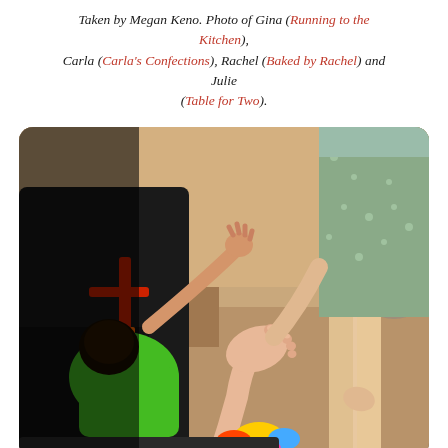Taken by Megan Keno. Photo of Gina (Running to the Kitchen), Carla (Carla's Confections), Rachel (Baked by Rachel) and Julie (Table for Two).
[Figure (photo): Outdoor photo showing an adult reaching down toward a baby in a stroller. The baby's bare foot is visible in the foreground. A person in patterned shorts stands to the right. The background shows a busy outdoor plaza with other people and strollers.]